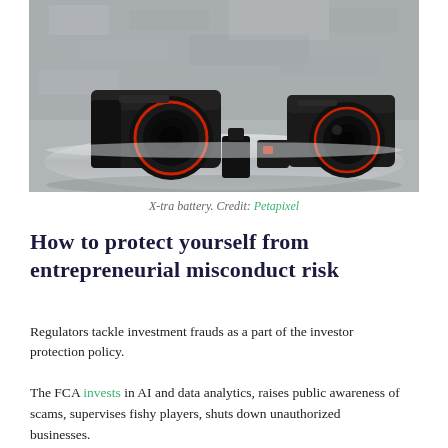[Figure (photo): Two DSLR cameras and camera accessories (X-tra batteries) placed on a round metallic/silver table, against a concrete wall background.]
X-tra battery. Credit: Petapixel
How to protect yourself from entrepreneurial misconduct risk
Regulators tackle investment frauds as a part of the investor protection policy.
The FCA invests in AI and data analytics, raises public awareness of scams, supervises fishy players, shuts down unauthorized businesses.